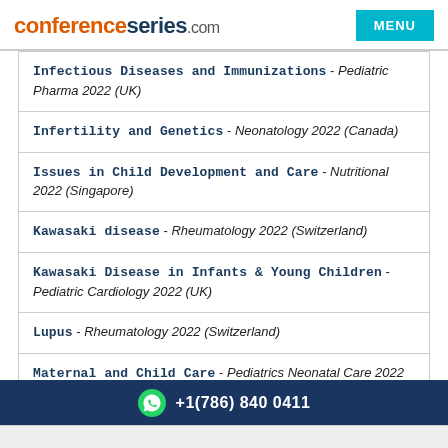conferenceseries.com  MENU
Infectious Diseases and Immunizations - Pediatric Pharma 2022 (UK)
Infertility and Genetics - Neonatology 2022 (Canada)
Issues in Child Development and Care - Nutritional 2022 (Singapore)
Kawasaki disease - Rheumatology 2022 (Switzerland)
Kawasaki Disease in Infants & Young Children - Pediatric Cardiology 2022 (UK)
Lupus - Rheumatology 2022 (Switzerland)
Maternal and Child Care - Pediatrics Neonatal Care 2022 (UK)
+1(786) 840 0411